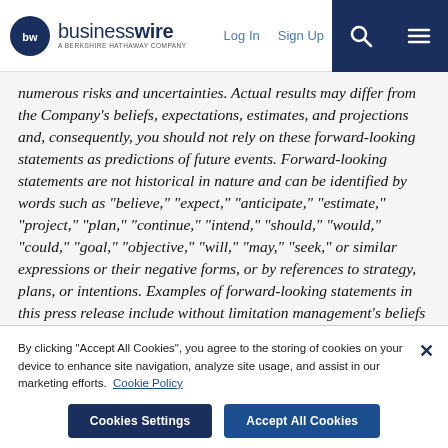businesswire — A Berkshire Hathaway Company | Log In | Sign Up
numerous risks and uncertainties. Actual results may differ from the Company's beliefs, expectations, estimates, and projections and, consequently, you should not rely on these forward-looking statements as predictions of future events. Forward-looking statements are not historical in nature and can be identified by words such as "believe," "expect," "anticipate," "estimate," "project," "plan," "continue," "intend," "should," "would," "could," "goal," "objective," "will," "may," "seek," or similar expressions or their negative forms, or by references to strategy, plans, or intentions. Examples of forward-looking statements in this press release include without limitation management's beliefs regarding the
By clicking "Accept All Cookies", you agree to the storing of cookies on your device to enhance site navigation, analyze site usage, and assist in our marketing efforts. Cookie Policy
Cookies Settings | Accept All Cookies